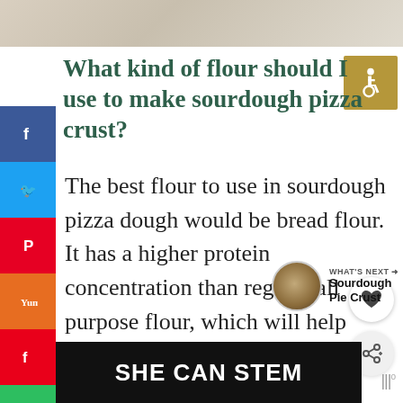[Figure (photo): Top decorative image strip showing light beige/cream surface, likely dough or flour background]
What kind of flour should I use to make sourdough pizza crust?
[Figure (infographic): Gold/tan accessibility icon (wheelchair symbol) on square background]
[Figure (infographic): Social media sharing sidebar with Facebook (blue), Twitter (light blue), Pinterest (red), Yummly (orange), Flipboard (red), Email (green) buttons]
The best flour to use in sourdough pizza dough would be bread flour. It has a higher protein concentration than regular all purpose flour, which will help give your pizza crust a better chewy texture and bite.
[Figure (infographic): Heart (save/like) button - circular white button with heart icon]
[Figure (infographic): Share button - circular gray button with share icon]
[Figure (photo): WHAT'S NEXT section with circular thumbnail of sourdough pie crust, labeled 'Sourdough Pie Crust']
[Figure (logo): SHE CAN STEM banner advertisement in black with white bold text]
[Figure (logo): Streaming service logo (looks like Moana/wave icons) bottom right]